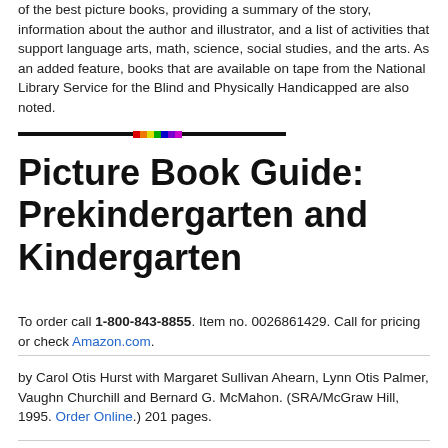of the best picture books, providing a summary of the story, information about the author and illustrator, and a list of activities that support language arts, math, science, social studies, and the arts. As an added feature, books that are available on tape from the National Library Service for the Blind and Physically Handicapped are also noted.
[Figure (other): Horizontal decorative divider line: black bars on left and right with a small rainbow-colored segment in the middle]
Picture Book Guide: Prekindergarten and Kindergarten
To order call 1-800-843-8855. Item no. 0026861429. Call for pricing or check Amazon.com.
by Carol Otis Hurst with Margaret Sullivan Ahearn, Lynn Otis Palmer, Vaughn Churchill and Bernard G. McMahon. (SRA/McGraw Hill, 1995. Order Online.) 201 pages.